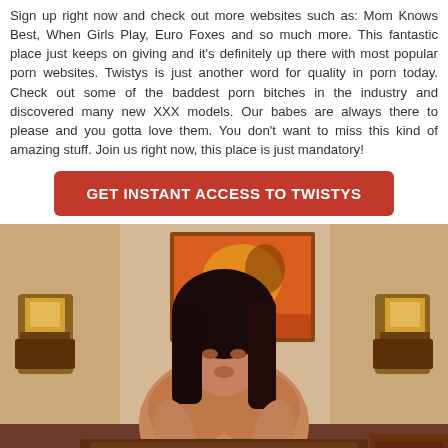Sign up right now and check out more websites such as: Mom Knows Best, When Girls Play, Euro Foxes and so much more. This fantastic place just keeps on giving and it's definitely up there with most popular porn websites. Twistys is just another word for quality in porn today. Check out some of the baddest porn bitches in the industry and discovered many new XXX models. Our babes are always there to please and you gotta love them. You don't want to miss this kind of amazing stuff. Join us right now, this place is just mandatory!
GET INSTANT ACCESS TO TWISTYS
[Figure (photo): A dark-haired woman posing indoors with a colorful painting and wall sconces visible in the background]